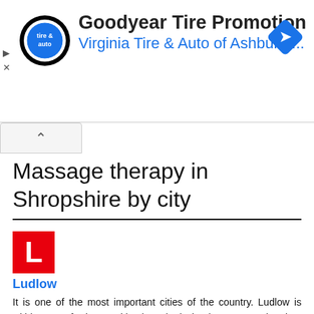[Figure (screenshot): Advertisement banner for Goodyear Tire Promotion by Virginia Tire & Auto of Ashburn with logo and navigation arrow icon]
Massage therapy in Shropshire by city
[Figure (other): Red square badge with white letter L for Ludlow]
Ludlow
It is one of the most important cities of the country. Ludlow is within 27% of relevant cities in United Kingdom. Has 7 churches of the romanesque period.
[Figure (other): Green square badge with white letter S for next city]